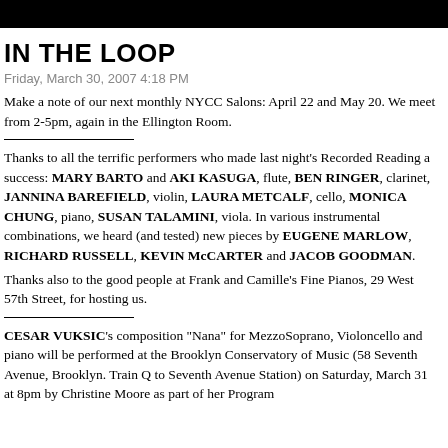IN THE LOOP
Friday, March 30, 2007 4:18 PM
Make a note of our next monthly NYCC Salons: April 22 and May 20. We meet from 2-5pm, again in the Ellington Room.
Thanks to all the terrific performers who made last night’s Recorded Reading a success: MARY BARTO and AKI KASUGA, flute, BEN RINGER, clarinet, JANNINA BAREFIELD, violin, LAURA METCALF, cello, MONICA CHUNG, piano, SUSAN TALAMINI, viola. In various instrumental combinations, we heard (and tested) new pieces by EUGENE MARLOW, RICHARD RUSSELL, KEVIN McCARTER and JACOB GOODMAN.
Thanks also to the good people at Frank and Camille’s Fine Pianos, 29 West 57th Street, for hosting us.
CESAR VUKSIC’s composition “Nana” for MezzoSoprano, Violoncello and piano will be performed at the Brooklyn Conservatory of Music (58 Seventh Avenue, Brooklyn. Train Q to Seventh Avenue Station) on Saturday, March 31 at 8pm by Christine Moore as part of her Program